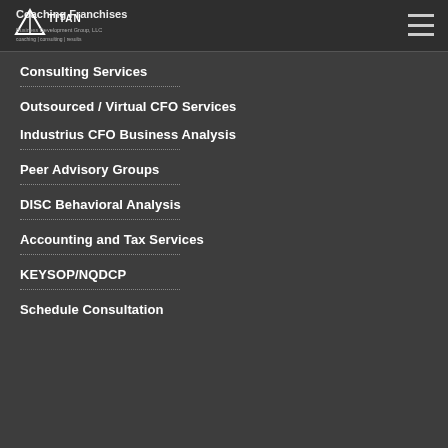Coaching Franchises — Titan Business Development Group, LLC — coaching | consulting | results
Consulting Services
Outsourced / Virtual CFO Services
Industrius CFO Business Analysis
Peer Advisory Groups
DISC Behavioral Analysis
Accounting and Tax Services
KEYSOP/NQDCP
Schedule Consultation